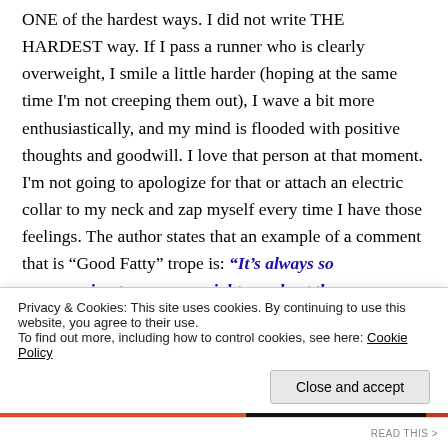ONE of the hardest ways. I did not write THE HARDEST way. If I pass a runner who is clearly overweight, I smile a little harder (hoping at the same time I'm not creeping them out), I wave a bit more enthusiastically, and my mind is flooded with positive thoughts and goodwill. I love that person at that moment. I'm not going to apologize for that or attach an electric collar to my neck and zap myself every time I have those feelings. The author states that an example of a comment that is "Good Fatty" trope is: “It’s always so encouraging to see overweight people at the
Advertisements
Privacy & Cookies: This site uses cookies. By continuing to use this website, you agree to their use.
To find out more, including how to control cookies, see here: Cookie Policy